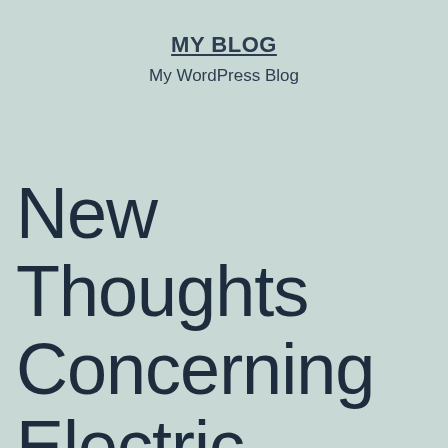MY BLOG
My WordPress Blog
New Thoughts Concerning Electric Tooth Brush That